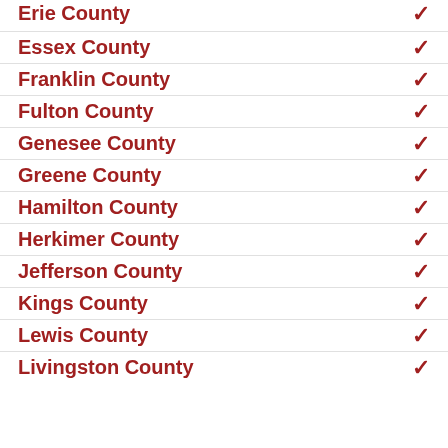Erie County
Essex County
Franklin County
Fulton County
Genesee County
Greene County
Hamilton County
Herkimer County
Jefferson County
Kings County
Lewis County
Livingston County